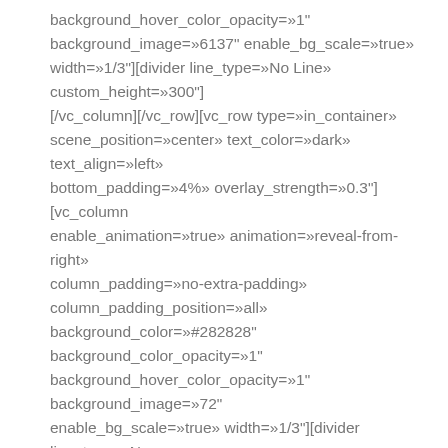background_hover_color_opacity=»1" background_image=»6137" enable_bg_scale=»true» width=»1/3"][divider line_type=»No Line» custom_height=»300"] [/vc_column][/vc_row][vc_row type=»in_container» scene_position=»center» text_color=»dark» text_align=»left» bottom_padding=»4%» overlay_strength=»0.3"][vc_column enable_animation=»true» animation=»reveal-from-right» column_padding=»no-extra-padding» column_padding_position=»all» background_color=»#282828" background_color_opacity=»1" background_hover_color_opacity=»1" background_image=»72" enable_bg_scale=»true» width=»1/3"][divider line_type=»No Line» custom_height=»300"][/vc_column][vc_column enable_animation=»true» animation=»reveal-from-right» column_padding=»no-extra-padding» column_padding_position=»all» background_color=»#282828" background_color_opacity=»1" background_hover_color_opacity=»1"